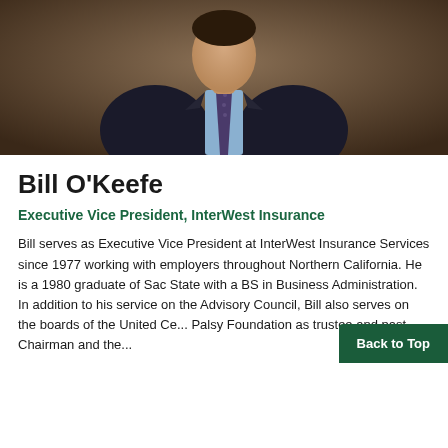[Figure (photo): Professional headshot of Bill O'Keefe, a man in a dark suit with a patterned tie, photographed against a brown background.]
Bill O'Keefe
Executive Vice President, InterWest Insurance
Bill serves as Executive Vice President at InterWest Insurance Services since 1977 working with employers throughout Northern California. He is a 1980 graduate of Sac State with a BS in Business Administration. In addition to his service on the Advisory Council, Bill also serves on the boards of the United Ce... Palsy Foundation as trustee and past Chairman and the...